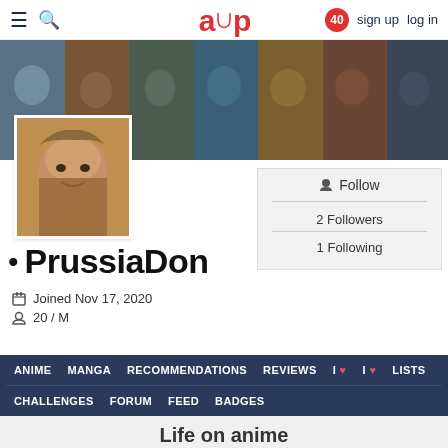≡ 🔍  acp  40  sign up  log in
[Figure (photo): Banner strip of Star Wars bounty hunter character illustrations in comic/painting style, showing 7 panels with various alien and armored characters]
[Figure (photo): User avatar: painted portrait of a man's face in warm brown tones]
Follow
2 Followers
1 Following
• PrussiaDon
Joined Nov 17, 2020
20 / M
ANIME  MANGA  RECOMMENDATIONS  REVIEWS  I♥  I♥  LISTS  CHALLENGES  FORUM  FEED  BADGES
Life on anime